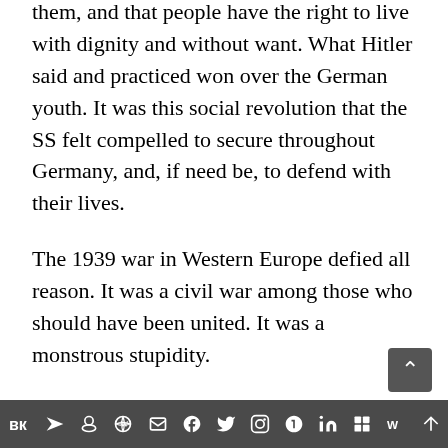them, and that people have the right to live with dignity and without want. What Hitler said and practiced won over the German youth. It was this social revolution that the SS felt compelled to secure throughout Germany, and, if need be, to defend with their lives.
The 1939 war in Western Europe defied all reason. It was a civil war among those who should have been united. It was a monstrous stupidity.
The young SS were trained to lead the new National Socialist revolution. In five or ten years they were to replace all those who had been put in office by the former regime.
Social media share bar with icons: VK, Telegram, Reddit, WordPress, WhatsApp, Email, Layers, Twitter, Facebook, Instagram, Pinterest, Tumblr, LinkedIn, Gift, Wordpress, Share